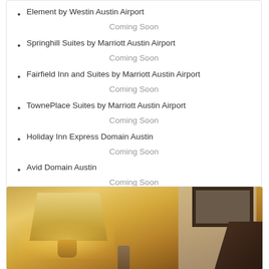Element by Westin Austin Airport
Coming Soon
Springhill Suites by Marriott Austin Airport
Coming Soon
Fairfield Inn and Suites by Marriott Austin Airport
Coming Soon
TownePlace Suites by Marriott Austin Airport
Coming Soon
Holiday Inn Express Domain Austin
Coming Soon
Avid Domain Austin
Coming Soon
[Figure (photo): Hotel room interior showing a lamp with a warm yellow shade, wall panels, a decorative vase, and a dark chair in the corner]